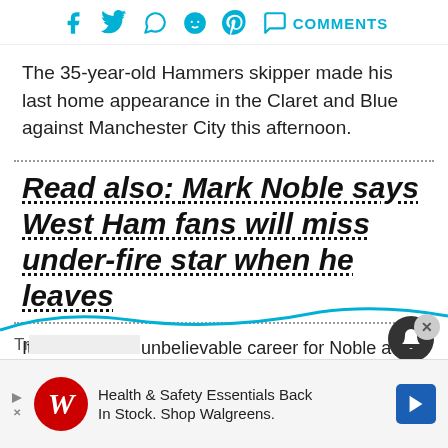[Figure (other): Social share bar with Facebook, Twitter, WhatsApp, Reddit, Pinterest, and Comments icons in cyan/teal color]
The 35-year-old Hammers skipper made his last home appearance in the Claret and Blue against Manchester City this afternoon.
Read also: Mark Noble says West Ham fans will miss under-fire star when he leaves
It has been an unbelievable career for Noble at West Ham.
Trending Articles
[Figure (other): Advertisement banner for Walgreens: Health & Safety Essentials Back In Stock. Shop Walgreens.]